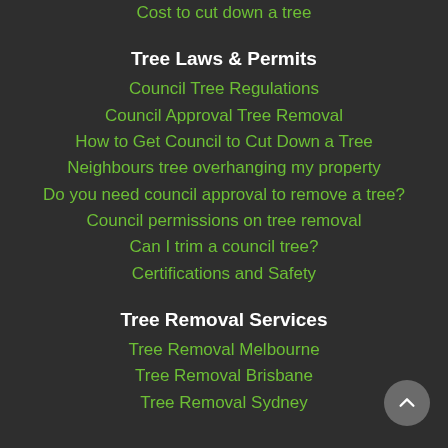Cost to cut down a tree
Tree Laws & Permits
Council Tree Regulations
Council Approval Tree Removal
How to Get Council to Cut Down a Tree
Neighbours tree overhanging my property
Do you need council approval to remove a tree?
Council permissions on tree removal
Can I trim a council tree?
Certifications and Safety
Tree Removal Services
Tree Removal Melbourne
Tree Removal Brisbane
Tree Removal Sydney